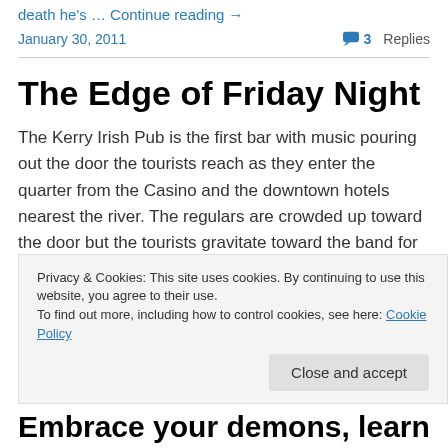death he's … Continue reading →
January 30, 2011
3 Replies
The Edge of Friday Night
The Kerry Irish Pub is the first bar with music pouring out the door the tourists reach as they enter the quarter from the Casino and the downtown hotels nearest the river. The regulars are crowded up toward the door but the tourists gravitate toward the band for a few songs, as obvious and
Privacy & Cookies: This site uses cookies. By continuing to use this website, you agree to their use.
To find out more, including how to control cookies, see here: Cookie Policy
Close and accept
Embrace your demons, learn